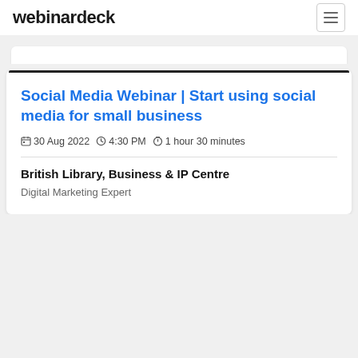webinardeck
Social Media Webinar | Start using social media for small business
30 Aug 2022  4:30 PM  1 hour 30 minutes
British Library, Business & IP Centre
Digital Marketing Expert